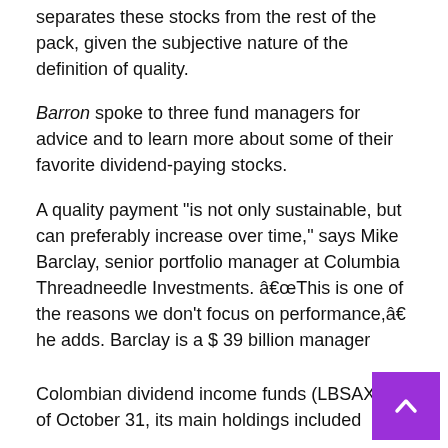separates these stocks from the rest of the pack, given the subjective nature of the definition of quality.
Barron spoke to three fund managers for advice and to learn more about some of their favorite dividend-paying stocks.
A quality payment “is not only sustainable, but can preferably increase over time,” says Mike Barclay, senior portfolio manager at Columbia Threadneedle Investments. “This is one of the reasons we don’t focus on performance,” he adds. Barclay is a $ 39 billion manager
Colombian dividend income funds (LBSAX). As of October 31, its main holdings included
Microsoft
(MSFT),